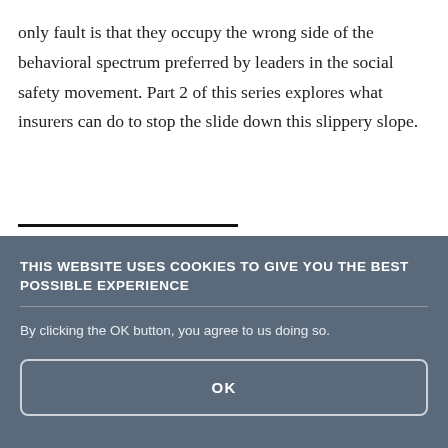only fault is that they occupy the wrong side of the behavioral spectrum preferred by leaders in the social safety movement. Part 2 of this series explores what insurers can do to stop the slide down this slippery slope.
THIS WEBSITE USES COOKIES TO GIVE YOU THE BEST POSSIBLE EXPERIENCE
By clicking the OK button, you agree to us doing so.
OK